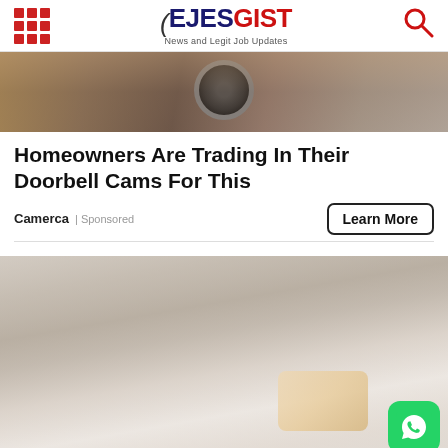EJESGIST — News and Legit Job Updates
[Figure (photo): Top banner photo showing a doorbell camera mounted on a textured surface]
Homeowners Are Trading In Their Doorbell Cams For This
Camerca | Sponsored
[Figure (photo): Young woman at a dentist office smiling while a hand holds up a dental implant model toward her]